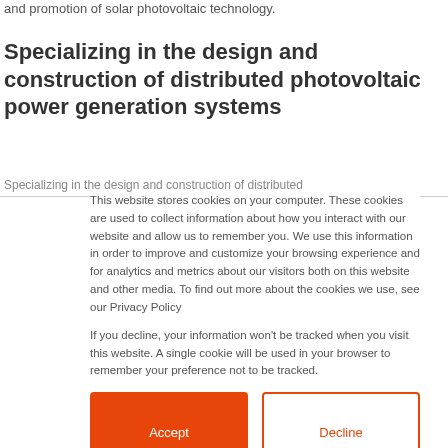and promotion of solar photovoltaic technology.
Specializing in the design and construction of distributed photovoltaic power generation systems
Specializing in the design and construction of distributed
This website stores cookies on your computer. These cookies are used to collect information about how you interact with our website and allow us to remember you. We use this information in order to improve and customize your browsing experience and for analytics and metrics about our visitors both on this website and other media. To find out more about the cookies we use, see our Privacy Policy

If you decline, your information won't be tracked when you visit this website. A single cookie will be used in your browser to remember your preference not to be tracked.